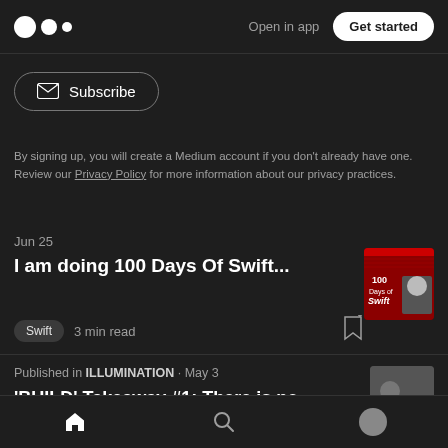Medium — Open in app | Get started
Subscribe
By signing up, you will create a Medium account if you don't already have one. Review our Privacy Policy for more information about our privacy practices.
Jun 25
I am doing 100 Days Of Swift...
Swift  3 min read
Published in ILLUMINATION · May 3
'BUILD' Takeaway #1: There is no Getting
Home | Search | Profile